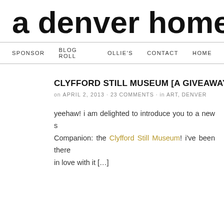a denver home c
SPONSOR  BLOG ROLL  OLLIE'S  CONTACT  HOME
CLYFFORD STILL MUSEUM [A GIVEAWAY]
on APRIL 2, 2013 · 23 COMMENTS · in ART, DENVER
yeehaw! i am delighted to introduce you to a new s... Companion: the Clyfford Still Museum! i've been there... in love with it […]